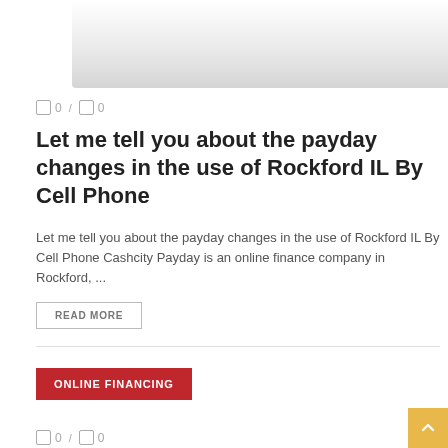[Figure (photo): Light gray hero image area at top of page, showing a partial curved decorative shape fading from white to light gray]
0 / 0
Let me tell you about the payday changes in the use of Rockford IL By Cell Phone
Let me tell you about the payday changes in the use of Rockford IL By Cell Phone Cashcity Payday is an online finance company in Rockford, ...
READ MORE
ONLINE FINANCING
0 / 0